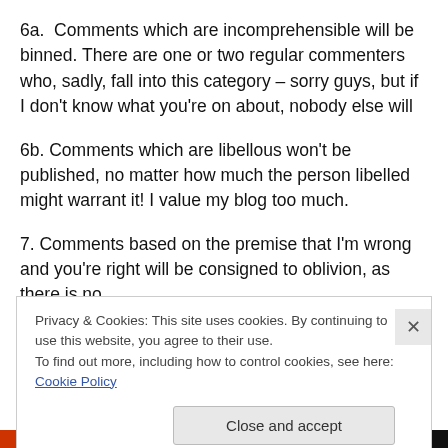6a.  Comments which are incomprehensible will be binned. There are one or two regular commenters who, sadly, fall into this category – sorry guys, but if I don't know what you're on about, nobody else will
6b. Comments which are libellous won't be published, no matter how much the person libelled might warrant it! I value my blog too much.
7. Comments based on the premise that I'm wrong and you're right will be consigned to oblivion, as there is no
Privacy & Cookies: This site uses cookies. By continuing to use this website, you agree to their use. To find out more, including how to control cookies, see here: Cookie Policy